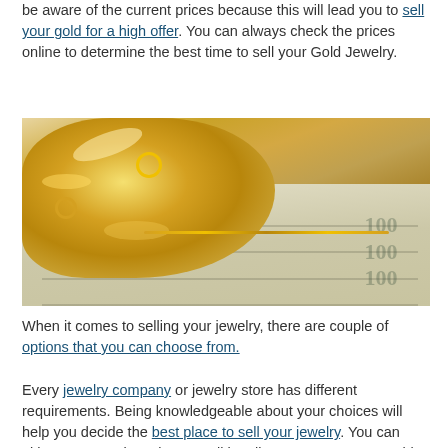be aware of the current prices because this will lead you to sell your gold for a high offer. You can always check the prices online to determine the best time to sell your Gold Jewelry.
[Figure (photo): A pile of gold jewelry (rings, chains, brooches) on top of several $100 US dollar bills]
When it comes to selling your jewelry, there are couple of options that you can choose from.
Every jewelry company or jewelry store has different requirements. Being knowledgeable about your choices will help you decide the best place to sell your jewelry. You can either meet a private buyer, sell it online or go to a respectable